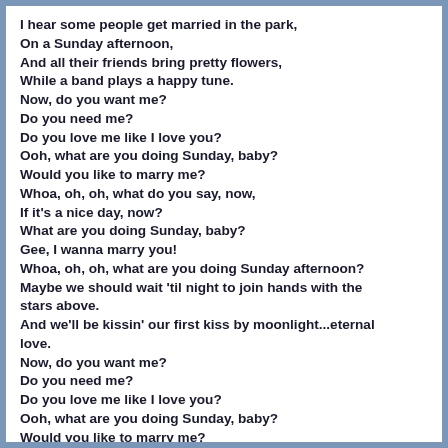I hear some people get married in the park,
On a Sunday afternoon,
And all their friends bring pretty flowers,
While a band plays a happy tune.
Now, do you want me?
Do you need me?
Do you love me like I love you?
Ooh, what are you doing Sunday, baby?
Would you like to marry me?
Whoa, oh, oh, what do you say, now,
If it's a nice day, now?
What are you doing Sunday, baby?
Gee, I wanna marry you!
Whoa, oh, oh, what are you doing Sunday afternoon?
Maybe we should wait 'til night to join hands with the stars above.
And we'll be kissin' our first kiss by moonlight...eternal love.
Now, do you want me?
Do you need me?
Do you love me like I love you?
Ooh, what are you doing Sunday, baby?
Would you like to marry me?
Whoa, oh, oh, what do you say, now,
If it's a nice day, now?
What are you doing Sunday, baby?
Gee, I wanna marry you!
Whoa, oh, oh, what are you doing Sunday afternoon?